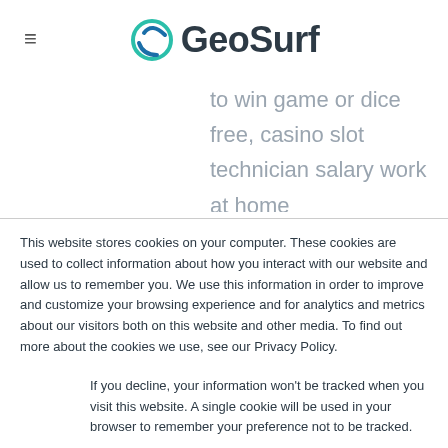≡ GeoSurf
to win game or dice free, casino slot technician salary work at home
This website stores cookies on your computer. These cookies are used to collect information about how you interact with our website and allow us to remember you. We use this information in order to improve and customize your browsing experience and for analytics and metrics about our visitors both on this website and other media. To find out more about the cookies we use, see our Privacy Policy.
If you decline, your information won't be tracked when you visit this website. A single cookie will be used in your browser to remember your preference not to be tracked.